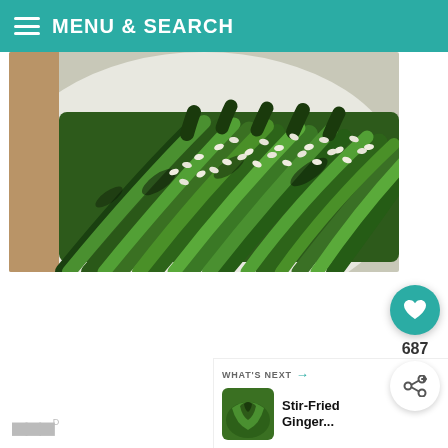MENU & SEARCH
[Figure (photo): Close-up photo of roasted asparagus spears with sesame seeds on a white plate]
687
WHAT'S NEXT → Stir-Fried Ginger...